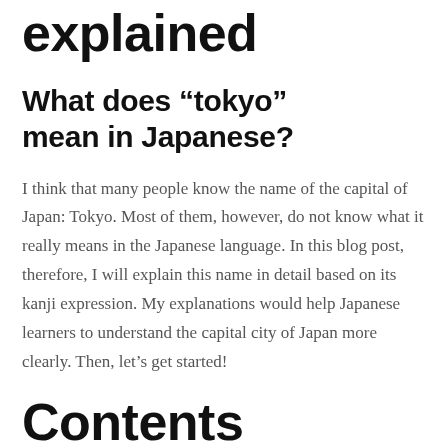explained
What does “tokyo” mean in Japanese?
I think that many people know the name of the capital of Japan: Tokyo. Most of them, however, do not know what it really means in the Japanese language. In this blog post, therefore, I will explain this name in detail based on its kanji expression. My explanations would help Japanese learners to understand the capital city of Japan more clearly. Then, let’s get started!
Contents